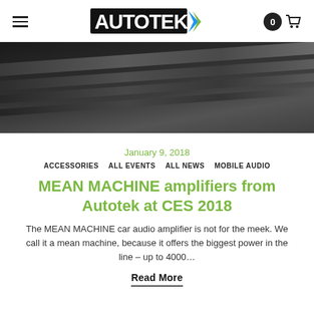AUTOTEK
[Figure (photo): Dark close-up photo of an Autotek amplifier with diagonal ridges/fins on a black surface]
January 9, 2018
ACCESSORIES  ALL EVENTS  ALL NEWS  MOBILE AUDIO
MEAN MACHINE amplifiers from Autotek at CES 2018
The MEAN MACHINE car audio amplifier is not for the meek. We call it a mean machine, because it offers the biggest power in the line – up to 4000…
Read More